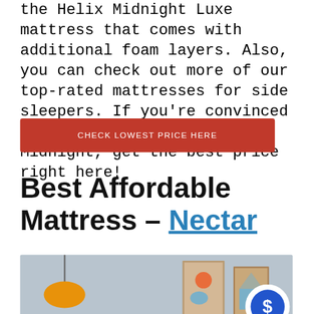the Helix Midnight Luxe mattress that comes with additional foam layers. Also, you can check out more of our top-rated mattresses for side sleepers. If you're convinced by this mattress, the Helix Midnight, get the best price right here!
CHECK LOWEST PRICE HERE
Best Affordable Mattress – Nectar
[Figure (photo): Photo of a bedroom scene with an orange pendant lamp on the left and framed artwork on the right against a light blue-grey wall, with a dollar sign speech bubble badge in the bottom right corner.]